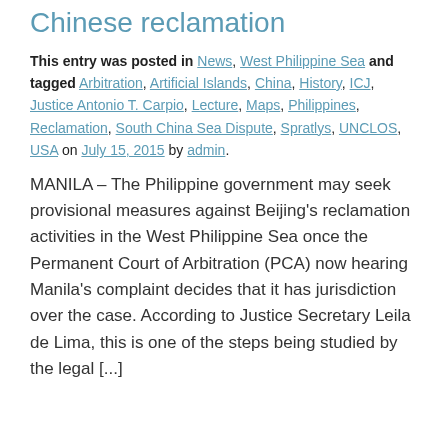Chinese reclamation
This entry was posted in News, West Philippine Sea and tagged Arbitration, Artificial Islands, China, History, ICJ, Justice Antonio T. Carpio, Lecture, Maps, Philippines, Reclamation, South China Sea Dispute, Spratlys, UNCLOS, USA on July 15, 2015 by admin.
MANILA – The Philippine government may seek provisional measures against Beijing's reclamation activities in the West Philippine Sea once the Permanent Court of Arbitration (PCA) now hearing Manila's complaint decides that it has jurisdiction over the case. According to Justice Secretary Leila de Lima, this is one of the steps being studied by the legal [...]
China to Philippines: Ditch sea claim case
This entry was posted in News, West Philippine Sea and tagged Arbitration, Artificial Islands, China, History, ICJ,